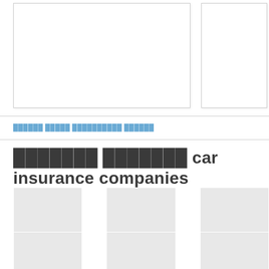[Figure (other): Two white card/box placeholders at the top of the page - a larger one on the left and a smaller one on the right]
██████ █████ ██████████ ██████
███████ ███████ car insurance companies
[Figure (other): Grid layout with three columns of light gray boxes/cards arranged below the title, partially visible]